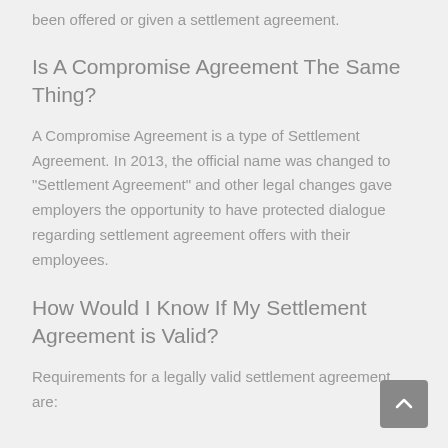been offered or given a settlement agreement.
Is A Compromise Agreement The Same Thing?
A Compromise Agreement is a type of Settlement Agreement. In 2013, the official name was changed to "Settlement Agreement" and other legal changes gave employers the opportunity to have protected dialogue regarding settlement agreement offers with their employees.
How Would I Know If My Settlement Agreement is Valid?
Requirements for a legally valid settlement agreement are: